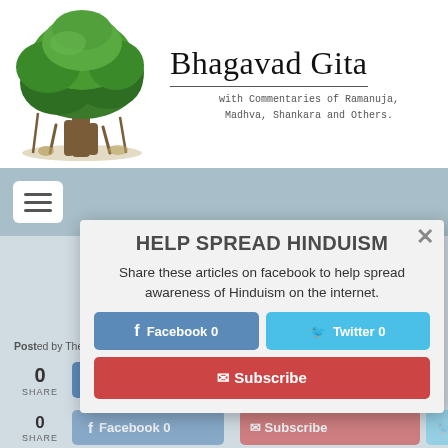[Figure (illustration): Illustration of a large banyan tree with lush green foliage, used as the website logo/header image]
Bhagavad Gita
with Commentaries of Ramanuja, Madhva, Shankara and Others.
[Figure (screenshot): Navigation hamburger menu button (three horizontal lines on white background) on a light blue-grey navigation bar]
HELP SPREAD HINDUISM
Share these articles on facebook to help spread awareness of Hinduism on the internet.
Bhagavad Gita 10.15
Posted by The Editor | Sep 13, 2012 | Bhagavad Gita: Chapter 10 | 5,837 views
0
SHARE
Facebook 0
Twitter 0
0
SHARE
Facebook 0
Twitter 0
Subscribe
Subscribe